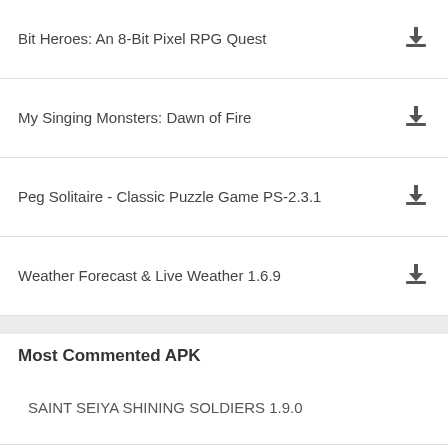Bit Heroes: An 8-Bit Pixel RPG Quest
My Singing Monsters: Dawn of Fire
Peg Solitaire - Classic Puzzle Game PS-2.3.1
Weather Forecast & Live Weather 1.6.9
Most Commented APK
SAINT SEIYA SHINING SOLDIERS 1.9.0
Astral Guardians: Cyber Fantasy 6.0
The Wild Darkness 1.0.63